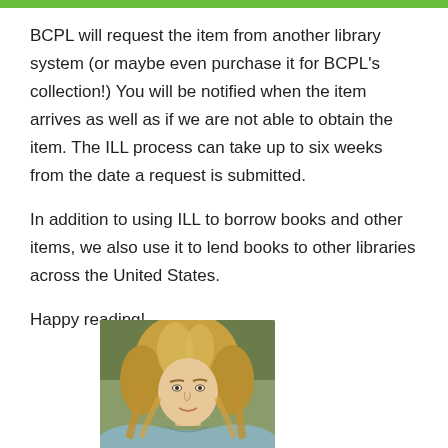BCPL will request the item from another library system (or maybe even purchase it for BCPL's collection!) You will be notified when the item arrives as well as if we are not able to obtain the item. The ILL process can take up to six weeks from the date a request is submitted.
In addition to using ILL to borrow books and other items, we also use it to lend books to other libraries across the United States.
Happy reading!
[Figure (photo): Portrait photo of a woman with blonde highlighted hair, facing forward, with an outdoor background]